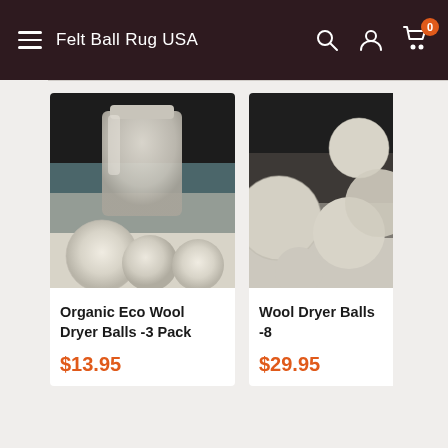Felt Ball Rug USA
[Figure (photo): Product photo of Organic Eco Wool Dryer Balls 3-Pack with jar and three wool balls on a light surface]
Organic Eco Wool Dryer Balls -3 Pack
$13.95
[Figure (photo): Product photo of Wool Dryer Balls 8-Pack showing multiple wool balls, partially cropped]
Wool Dryer Balls -8
$29.95